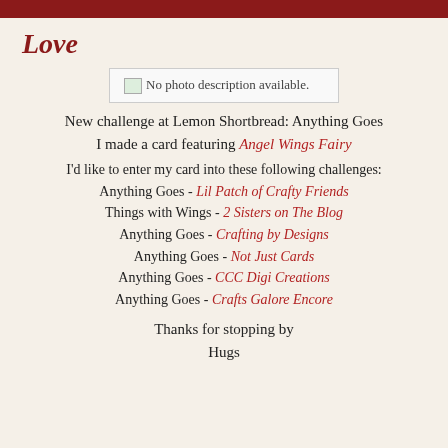Love
[Figure (photo): No photo description available. Broken image placeholder.]
New challenge at Lemon Shortbread: Anything Goes
I made a card featuring Angel Wings Fairy
I'd like to enter my card into these following challenges:
Anything Goes - Lil Patch of Crafty Friends
Things with Wings - 2 Sisters on The Blog
Anything Goes - Crafting by Designs
Anything Goes - Not Just Cards
Anything Goes - CCC Digi Creations
Anything Goes - Crafts Galore Encore
Thanks for stopping by
Hugs